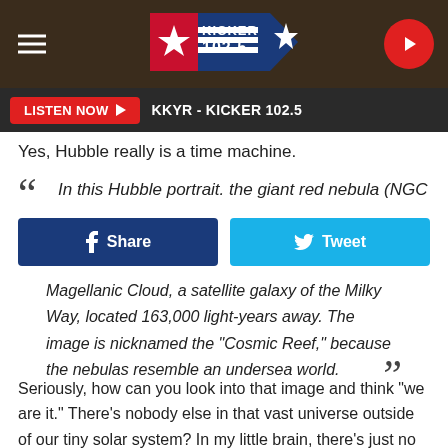KICKER 102.5 — KKYR - KICKER 102.5
Yes, Hubble really is a time machine.
In this Hubble portrait. the giant red nebula (NGC
Magellanic Cloud, a satellite galaxy of the Milky Way, located 163,000 light-years away. The image is nicknamed the "Cosmic Reef," because the nebulas resemble an undersea world.
Seriously, how can you look into that image and think "we are it." There's nobody else in that vast universe outside of our tiny solar system? In my little brain, there's just no way God created all of that for just us... no way.